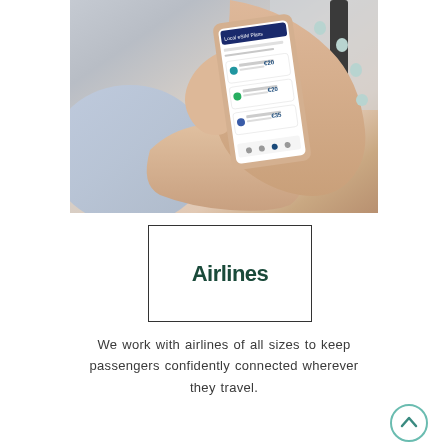[Figure (photo): Person holding a smartphone displaying an eSIM/travel connectivity app with local plans listed on screen, including prices in euros. The hands have painted nails and a ring visible.]
Airlines
We work with airlines of all sizes to keep passengers confidently connected wherever they travel.